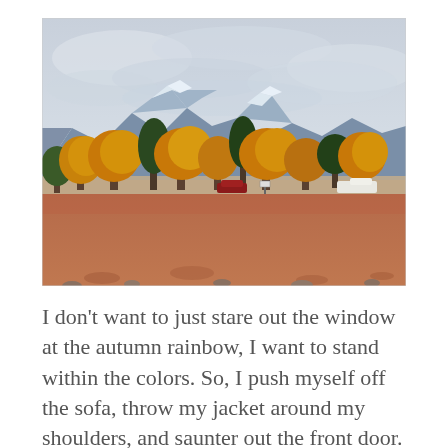[Figure (photo): Outdoor autumn landscape photo showing rows of trees with orange and yellow fall foliage in the foreground, snow-capped mountains in the background, a cloudy grey sky above, and a reddish-brown open ground in the front. Cars and a street sign are visible near the tree line.]
I don't want to just stare out the window at the autumn rainbow, I want to stand within the colors. So, I push myself off the sofa, throw my jacket around my shoulders, and saunter out the front door. I step into the landscape art, kick up dried